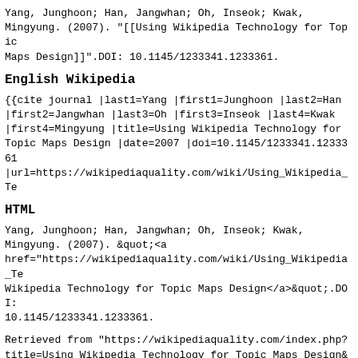Yang, Junghoon; Han, Jangwhan; Oh, Inseok; Kwak, Mingyung. (2007). "[[Using Wikipedia Technology for Topic Maps Design]]".DOI: 10.1145/1233341.1233361.
English Wikipedia
{{cite journal |last1=Yang |first1=Junghoon |last2=Han |first2=Jangwhan |last3=Oh |first3=Inseok |last4=Kwak |first4=Mingyung |title=Using Wikipedia Technology for Topic Maps Design |date=2007 |doi=10.1145/1233341.1233361 |url=https://wikipediaquality.com/wiki/Using_Wikipedia_Te
HTML
Yang, Junghoon; Han, Jangwhan; Oh, Inseok; Kwak, Mingyung. (2007). &quot;<a href="https://wikipediaquality.com/wiki/Using_Wikipedia_Te Wikipedia Technology for Topic Maps Design</a>&quot;.DOI: 10.1145/1233341.1233361.
Retrieved from "https://wikipediaquality.com/index.php?title=Using_Wikipedia_Technology_for_Topic_Maps_Design&oldid=